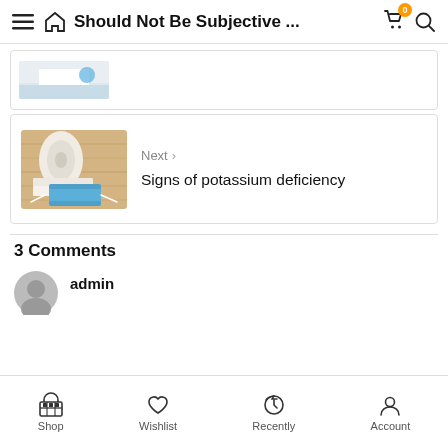Should Not Be Subjective ...
[Figure (screenshot): Partial image of paper roll and blue face mask on wooden surface (top card, cropped)]
[Figure (screenshot): Paper towel roll and blue face mask on wooden table — next article thumbnail]
Next >
Signs of potassium deficiency
3 Comments
admin
Shop  Wishlist  Recently  Account